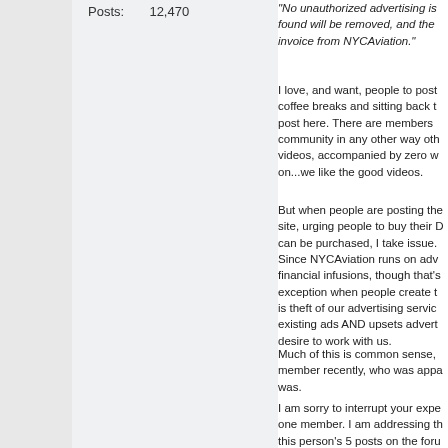Posts: 12,470
"No unauthorized advertising is found will be removed, and the invoice from NYCAviation."
I love, and want, people to post coffee breaks and sitting back t post here. There are members community in any other way oth videos, accompanied by zero w on...we like the good videos.
But when people are posting the site, urging people to buy their D can be purchased, I take issue. Since NYCAviation runs on adv financial infusions, though that's exception when people create t is theft of our advertising servic existing ads AND upsets advert desire to work with us.
Much of this is common sense, member recently, who was appa was.
I am sorry to interrupt your expe one member. I am addressing th this person's 5 posts on the foru member is someone that some with on Facebook. If said perso